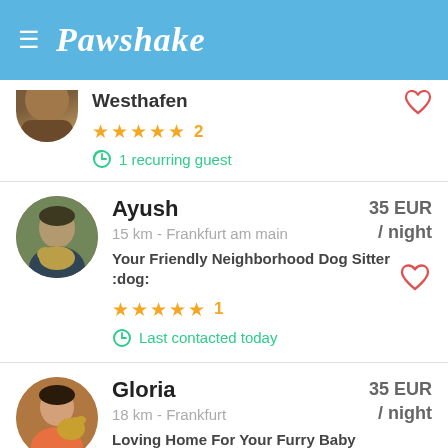Pawshake
Westhafen
★★★★★ 2
1 recurring guest
Ayush
15 km - Frankfurt am main
Your Friendly Neighborhood Dog Sitter :dog:
★★★★★ 1
Last contacted today
35 EUR / night
Gloria
18 km - Frankfurt
Loving Home For Your Furry Baby
35 EUR / night